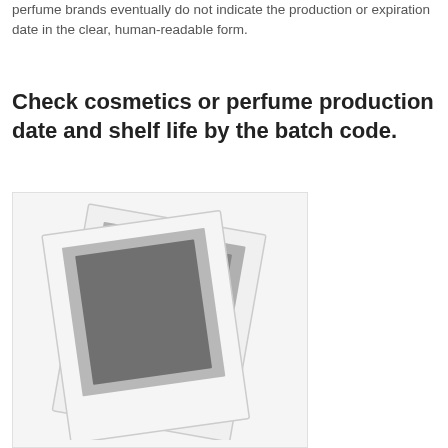perfume brands eventually do not indicate the production or expiration date in the clear, human-readable form.
Check cosmetics or perfume production date and shelf life by the batch code.
[Figure (photo): Two overlapping polaroid-style photo placeholders (greyed out placeholder images) against a light grey background, shown at a slight angle.]